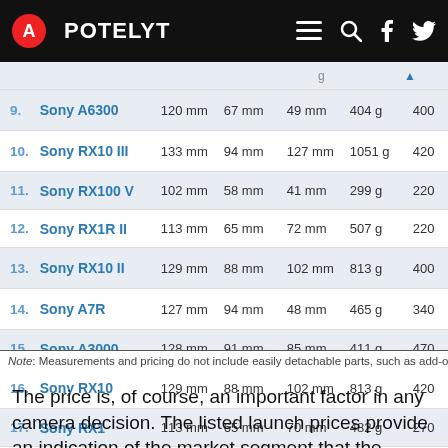APOTELYT
| # | Camera | Width | Height | Depth | Weight | Price |  |
| --- | --- | --- | --- | --- | --- | --- | --- |
| 9. | Sony A6300 | 120 mm | 67 mm | 49 mm | 404 g | 400 | ✓ |
| 10. | Sony RX10 III | 133 mm | 94 mm | 127 mm | 1051 g | 420 | ✓ |
| 11. | Sony RX100 V | 102 mm | 58 mm | 41 mm | 299 g | 220 | ✗ |
| 12. | Sony RX1R II | 113 mm | 65 mm | 72 mm | 507 g | 220 | ✗ |
| 13. | Sony RX10 II | 129 mm | 88 mm | 102 mm | 813 g | 400 | ✓ |
| 14. | Sony A7R | 127 mm | 94 mm | 48 mm | 465 g | 340 | ✓ |
| 15. | Sony A3000 | 128 mm | 91 mm | 85 mm | 411 g | 470 | ✗ |
| 16. | Sony RX10 | 129 mm | 88 mm | 102 mm | 813 g | 420 | ✓ |
| 17. | Sony RX1 | 113 mm | 65 mm | 70 mm | 482 g | 270 | ✗ |
Note: Measurements and pricing do not include easily detachable parts, such as add-on o
The price is, of course, an important factor in any camera decision. The listed launch prices provide an indication of the market segment that the manufacturer of the